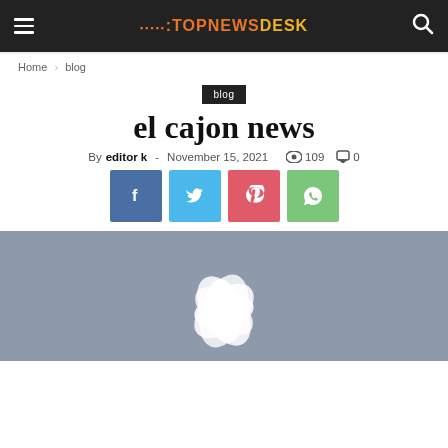TOPNEWSDESK
Home › blog
blog
el cajon news
By editor k - November 15, 2021  109  0
[Figure (other): Social share buttons: Facebook, Twitter, Pinterest, WhatsApp]
[Figure (photo): A white flower on a grey background]